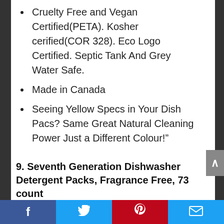Cruelty Free and Vegan Certified(PETA). Kosher cerified(COR 328). Eco Logo Certified. Septic Tank And Grey Water Safe.
Made in Canada
Seeing Yellow Specs in Your Dish Pacs? Same Great Natural Cleaning Power Just a Different Colour!”
9. Seventh Generation Dishwasher Detergent Packs, Fragrance Free, 73 count
Social share bar: Facebook, Twitter, Pinterest, Email